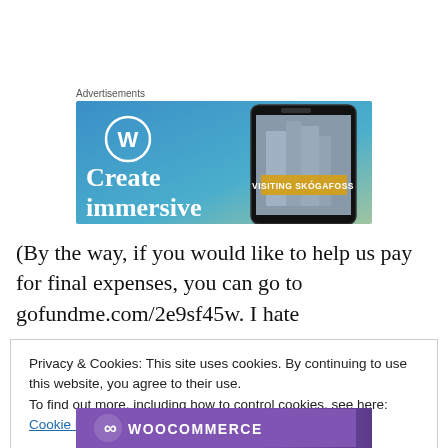Advertisements
[Figure (screenshot): WordPress advertisement banner showing the WordPress logo (W in a circle) on a blue-to-green gradient background, with a smartphone displaying a waterfall photo labeled 'VISITING SKÓGAFOSS', and text 'Create immersive' visible at the bottom left.]
(By the way, if you would like to help us pay for final expenses, you can go to gofundme.com/2e9sf45w. I hate
Privacy & Cookies: This site uses cookies. By continuing to use this website, you agree to their use.
To find out more, including how to control cookies, see here: Cookie Policy
Close and accept
[Figure (logo): WooCommerce purple banner at the bottom with white logo text]